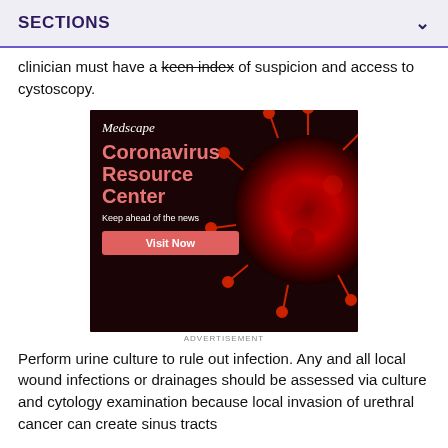SECTIONS
clinician must have a keen index of suspicion and access to cystoscopy.
[Figure (photo): Medscape Coronavirus Resource Center advertisement with red coronavirus image and Visit Now button]
ADVERTISEMENT
Perform urine culture to rule out infection. Any and all local wound infections or drainages should be assessed via culture and cytology examination because local invasion of urethral cancer can create sinus tracts